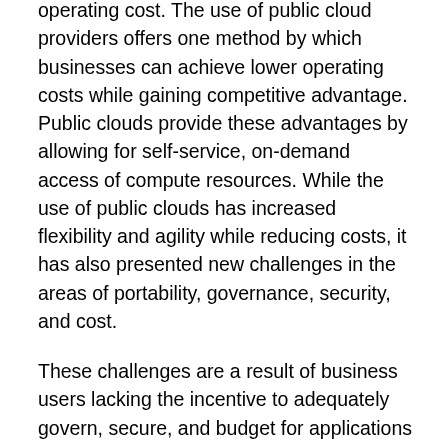operating cost. The use of public cloud providers offers one method by which businesses can achieve lower operating costs while gaining competitive advantage. Public clouds provide these advantages by allowing for self-service, on-demand access of compute resources. While the use of public clouds has increased flexibility and agility while reducing costs, it has also presented new challenges in the areas of portability, governance, security, and cost.
These challenges are a result of business users lacking the incentive to adequately govern, secure, and budget for applications deployed in the cloud. As a result, IT organizations have looked to replicate public cloud models in order to convince business users to utilize internal private clouds. An internal cloud avoids the challenges of portability, governance, security, and cost that are